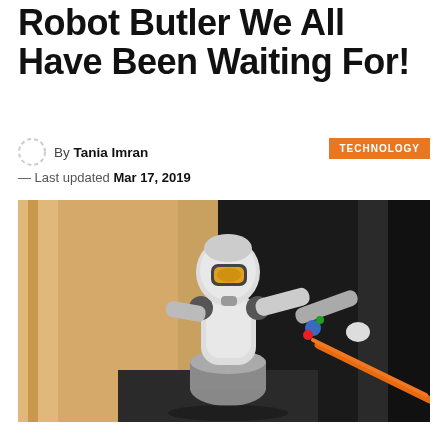Robot Butler We All Have Been Waiting For!
By Tania Imran
TECHNOLOGY
— Last updated Mar 17, 2019
[Figure (photo): A white humanoid robot with a yellow visor on its face, extending an arm holding an orange stick/tool. Background shows yellow curtains on the left and a dark figure on the right.]